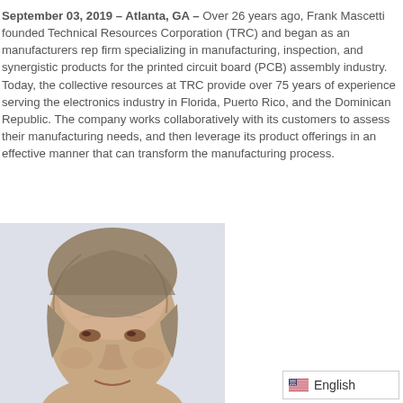September 03, 2019 – Atlanta, GA – Over 26 years ago, Frank Mascetti founded Technical Resources Corporation (TRC) and began as an manufacturers rep firm specializing in manufacturing, inspection, and synergistic products for the printed circuit board (PCB) assembly industry. Today, the collective resources at TRC provide over 75 years of experience serving the electronics industry in Florida, Puerto Rico, and the Dominican Republic. The company works collaboratively with its customers to assess their manufacturing needs, and then leverage its product offerings in an effective manner that can transform the manufacturing process.
[Figure (photo): Head and shoulders photo of a middle-aged man with grey-brown hair against a light background.]
English